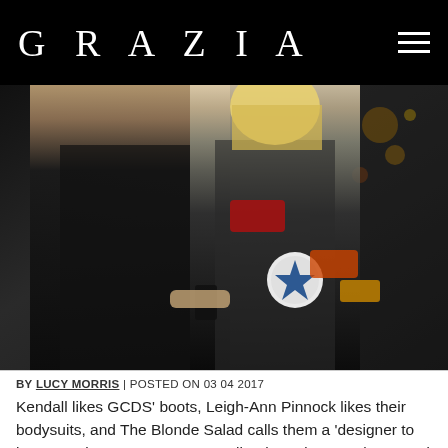GRAZIA
[Figure (photo): Two women standing together outdoors at night. The woman on the left wears a black spaghetti-strap dress. The woman on the right has blonde hair and wears a sheer black mesh bodysuit with various colorful patches on it.]
BY LUCY MORRIS | POSTED ON 03 04 2017
Kendall likes GCDS' boots, Leigh-Ann Pinnock likes their bodysuits, and The Blonde Salad calls them a 'designer to know!'. In just over two years Italian-based GCDS (AKA God Can't' Destroy Streetwear) has managed to capture the attentions of some of the most sort after